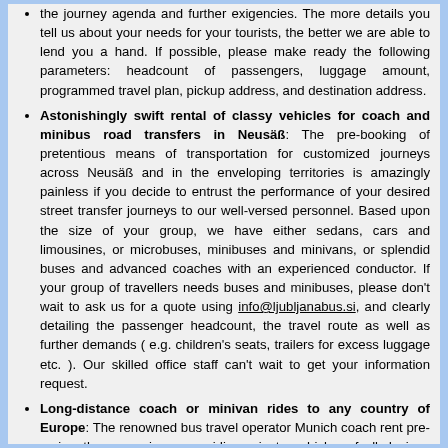the journey agenda and further exigencies. The more details you tell us about your needs for your tourists, the better we are able to lend you a hand. If possible, please make ready the following parameters: headcount of passengers, luggage amount, programmed travel plan, pickup address, and destination address.
Astonishingly swift rental of classy vehicles for coach and minibus road transfers in Neusäß: The pre-booking of pretentious means of transportation for customized journeys across Neusäß and in the enveloping territories is amazingly painless if you decide to entrust the performance of your desired street transfer journeys to our well-versed personnel. Based upon the size of your group, we have either sedans, cars and limousines, or microbuses, minibuses and minivans, or splendid buses and advanced coaches with an experienced conductor. If your group of travellers needs buses and minibuses, please don't wait to ask us for a quote using info@ljubljanabus.si, and clearly detailing the passenger headcount, the travel route as well as further demands ( e.g. children's seats, trailers for excess luggage etc. ). Our skilled office staff can't wait to get your information request.
Long-distance coach or minivan rides to any country of Europe: The renowned bus travel operator Munich coach rent pre-eminently zeroes in on providing private vehicles of all designs with an expert driver for utilization in the context of extensive discovery trips all over Europe. From our fleet bases in Thuringia, Berlin, Rhineland-Palatinate, Mecklenburg-Vorpommern, Hamburg, Brandenburg, Lower Saxony, Baden-Württemberg, Bavaria, Bremen, North Rhine-Westphalia, Saxony-Anhalt, Saxony, Saarland, Schleswig-Holstein,